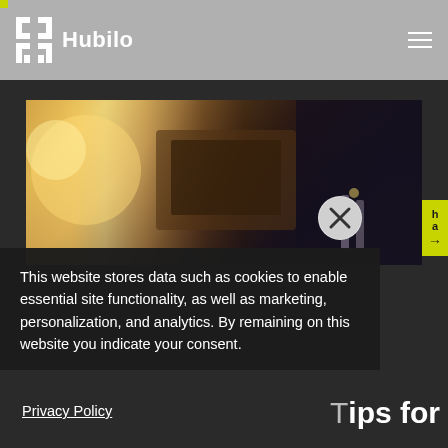Hubilo
[Figure (screenshot): Hubilo website screenshot showing a cookie consent popup over a hero image of a laptop and books. The page has a gray navigation bar with the Hubilo logo, a dark background with a partial hero image, and a cookie consent dialog with close button.]
This website stores data such as cookies to enable essential site functionality, as well as marketing, personalization, and analytics. By remaining on this website you indicate your consent.
Privacy Policy
Tips for